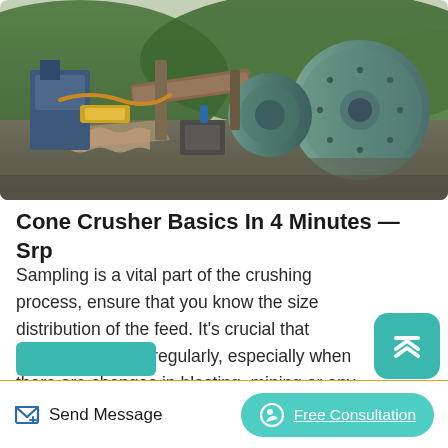[Figure (photo): Outdoor mining/quarry machinery scene showing cone crushers, conveyor belts, and industrial equipment with green hills in background]
Cone Crusher Basics In 4 Minutes — Srp
Sampling is a vital part of the crushing process, ensure that you know the size distribution of the feed. It's crucial that sampling is done regularly, especially when there are changes in blasting, mining or any other upstream processes. Feed moving towards a crusher in the Sandvik-designed Deer Park quarry in Melbourne, Australia.
Send Message   Free Consultation